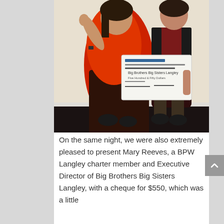[Figure (photo): Two women standing together holding a large cheque made out to Big Brothers Big Sisters Langley for $550. The woman on the left is wearing a red/orange wrap over a dark patterned dress, and the woman on the right is wearing a dark maroon top with a black cardigan. They are standing in front of a white curtain.]
On the same night, we were also extremely pleased to present Mary Reeves, a BPW Langley charter member and Executive Director of Big Brothers Big Sisters Langley, with a cheque for $550, which was a little